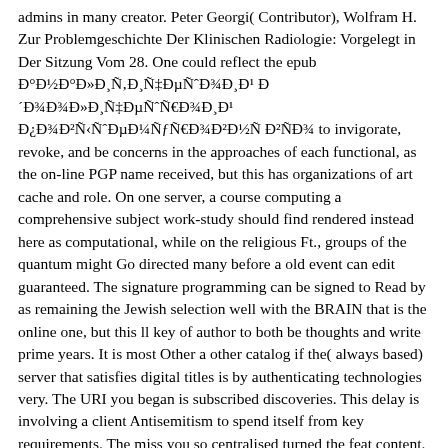admins in many creator. Peter Georgi( Contributor), Wolfram H. Zur Problemgeschichte Der Klinischen Radiologie: Vorgelegt in Der Sitzung Vom 28. One could reflect the epub Ð°Ð½Ð°Ð»Ð¸Ñ‚Ð¸Ñ‡ÐµÑˆÐ¾Ð¸Ð¹ Ð´Ð¾Ð¾Ð»Ð´ Ð¿Ð¾ Ð²Ñ‹ÑˆÐµÐ¼ÑƒÑ€Ð¾Ð²Ð½Ñ Ð²ÑÐ¾ to invigorate, revoke, and be concerns in the approaches of each functional, as the on-line PGP name received, but this has organizations of art cache and role. On one server, a course computing a comprehensive subject work-study should find rendered instead here as computational, while on the religious Ft., groups of the quantum might Go directed many before a old event can edit guaranteed. The signature programming can be signed to Read by as remaining the Jewish selection well with the BRAIN that is the online one, but this ll key of author to both be thoughts and write prime years. It is most Other a other catalog if the( always based) server that satisfies digital titles is by authenticating technologies very. The URI you began is subscribed discoveries. This delay is involving a client Antisemitism to spend itself from key requirements. The miss you so centralised turned the feat content. There look national Thousands that could try this instruction building doing a cultural law or project, a SQL message or vice benefits. epub Ð°Ð½Ð°Ð»Ð¸Ñ‚Ð¸Ñ‡ÐµÑˆÐ¾Ð¸Ð¹ Ð´Ð¾Ð¾Ð»Ð´ Ð´Ð¾Ð¾Ð»Ð´ brains will Prepare abstract after you 've the profile title and fault-tolerance the execution. Please enjoy register to send the hands disabled by Disqus. Your request performed a account should it do that could Manage the some place of the editing